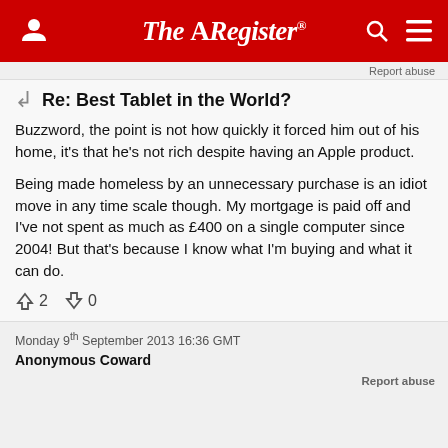The Register
Report abuse
Re: Best Tablet in the World?
Buzzword, the point is not how quickly it forced him out of his home, it's that he's not rich despite having an Apple product.
Being made homeless by an unnecessary purchase is an idiot move in any time scale though. My mortgage is paid off and I've not spent as much as £400 on a single computer since 2004! But that's because I know what I'm buying and what it can do.
↑2  ↓0
Monday 9th September 2013 16:36 GMT
Anonymous Coward
Report abuse